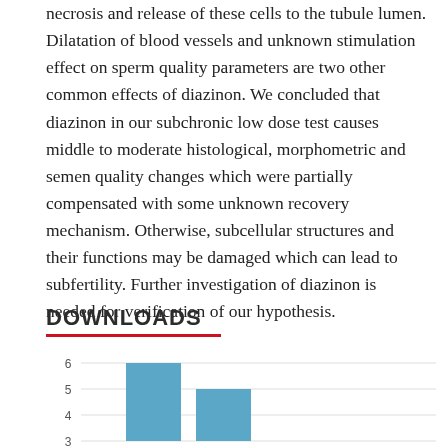necrosis and release of these cells to the tubule lumen. Dilatation of blood vessels and unknown stimulation effect on sperm quality parameters are two other common effects of diazinon. We concluded that diazinon in our subchronic low dose test causes middle to moderate histological, morphometric and semen quality changes which were partially compensated with some unknown recovery mechanism. Otherwise, subcellular structures and their functions may be damaged which can lead to subfertility. Further investigation of diazinon is needed for verification of our hypothesis.
DOWNLOADS
[Figure (bar-chart): Downloads]